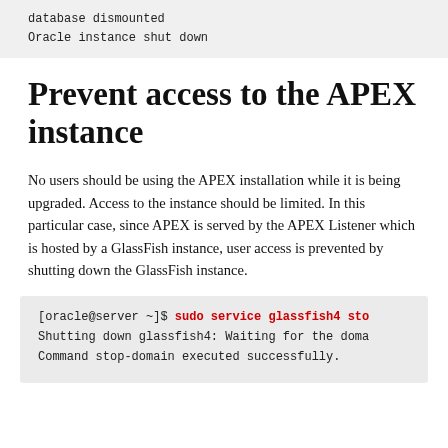[Figure (screenshot): Code block showing terminal output: 'database dismounted' and 'Oracle instance shut down']
Prevent access to the APEX instance
No users should be using the APEX installation while it is being upgraded. Access to the instance should be limited. In this particular case, since APEX is served by the APEX Listener which is hosted by a GlassFish instance, user access is prevented by shutting down the GlassFish instance.
[Figure (screenshot): Terminal code block: [oracle@server ~]$ sudo service glassfish4 stop
Shutting down glassfish4: Waiting for the domain...
Command stop-domain executed successfully.]